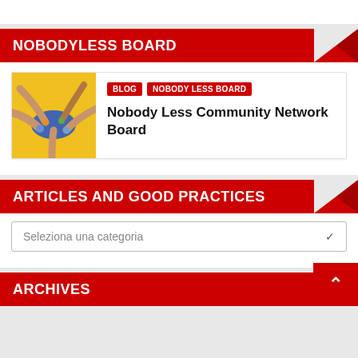NOBODYLESS BOARD
[Figure (photo): Hands of multiple people joining together over a yellow and blue surface]
BLOG   NOBODY LESS BOARD
Nobody Less Community Network Board
ARTICLES AND GOOD PRACTICES
Seleziona una categoria
ARCHIVES